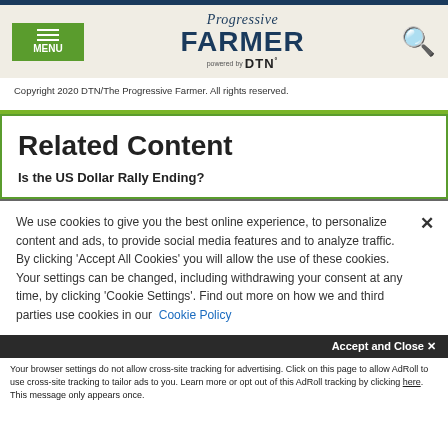Progressive FARMER powered by DTN
Copyright 2020 DTN/The Progressive Farmer. All rights reserved.
Related Content
Is the US Dollar Rally Ending?
We use cookies to give you the best online experience, to personalize content and ads, to provide social media features and to analyze traffic. By clicking 'Accept All Cookies' you will allow the use of these cookies. Your settings can be changed, including withdrawing your consent at any time, by clicking 'Cookie Settings'. Find out more on how we and third parties use cookies in our Cookie Policy
Accept and Close ×
Your browser settings do not allow cross-site tracking for advertising. Click on this page to allow AdRoll to use cross-site tracking to tailor ads to you. Learn more or opt out of this AdRoll tracking by clicking here. This message only appears once.